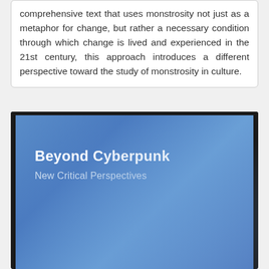comprehensive text that uses monstrosity not just as a metaphor for change, but rather a necessary condition through which change is lived and experienced in the 21st century, this approach introduces a different perspective toward the study of monstrosity in culture.
[Figure (photo): Book cover of 'Beyond Cyberpunk: New Critical Perspectives' with a blue gradient background. The title appears in bold white text and the subtitle in lighter white text.]